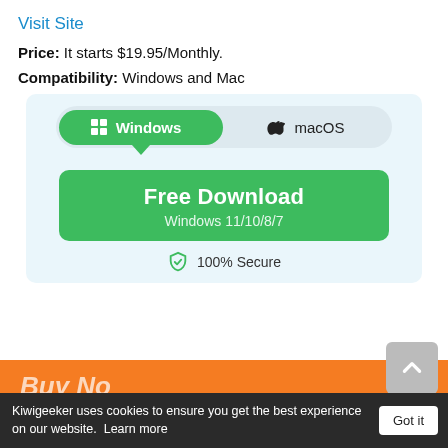Visit Site
Price: It starts $19.95/Monthly.
Compatibility: Windows and Mac
[Figure (screenshot): OS compatibility toggle showing Windows (selected, green) and macOS options, with a Free Download button for Windows 11/10/8/7 and a 100% Secure badge]
Kiwigeeker uses cookies to ensure you get the best experience on our website. Learn more
Got it